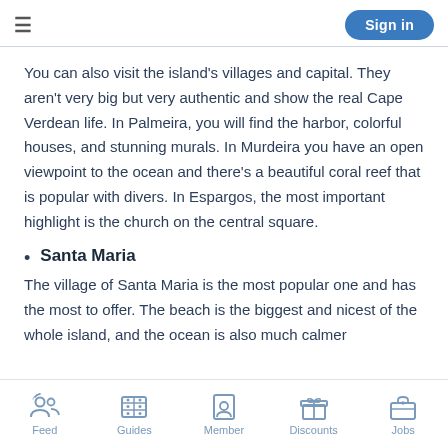Sign in
You can also visit the island's villages and capital. They aren't very big but very authentic and show the real Cape Verdean life. In Palmeira, you will find the harbor, colorful houses, and stunning murals. In Murdeira you have an open viewpoint to the ocean and there's a beautiful coral reef that is popular with divers. In Espargos, the most important highlight is the church on the central square.
Santa Maria
The village of Santa Maria is the most popular one and has the most to offer. The beach is the biggest and nicest of the whole island, and the ocean is also much calmer
Feed  Guides  Member  Discounts  Jobs